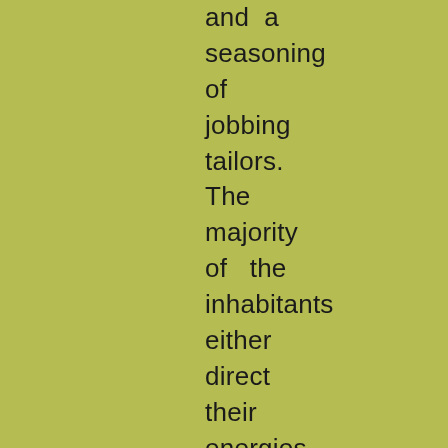and a seasoning of jobbing tailors. The majority of the inhabitants either direct their energies to the letting of furnished apartments, or